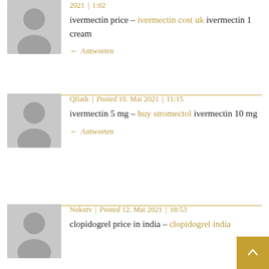2021  |  1:02
ivermectin price – ivermectin cost uk ivermectin 1 cream
Antworten
Qfiatk  |  Posted 10. Mai 2021  |  11:15
ivermectin 5 mg – buy stromectol ivermectin 10 mg
Antworten
Nokxtv  |  Posted 12. Mai 2021  |  18:53
clopidogrel price in india – clopidogrel india